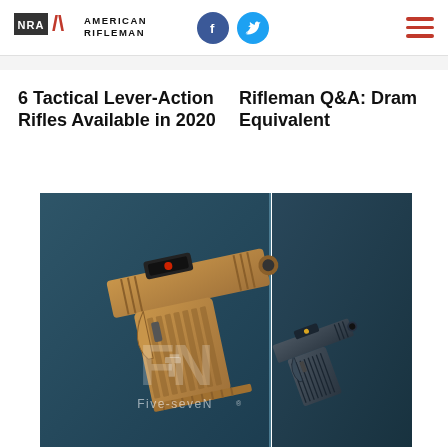NRA American Rifleman
6 Tactical Lever-Action Rifles Available in 2020
Rifleman Q&A: Dram Equivalent
[Figure (photo): FN Five-seveN pistol advertisement showing two FN Five-seveN pistols — one tan/FDE with red dot optic on the left, one dark/black with optic on the right — against a dark teal background with large 'FN Five-seveN' branding text.]